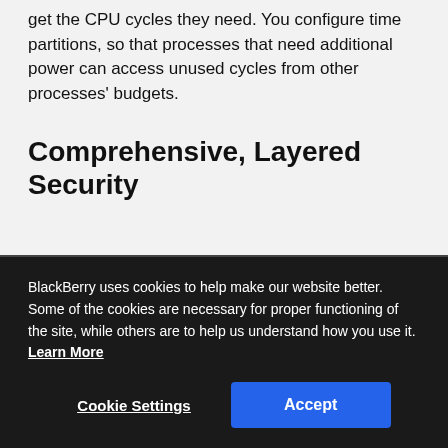get the CPU cycles they need. You configure time partitions, so that processes that need additional power can access unused cycles from other processes' budgets.
Comprehensive, Layered Security
BlackBerry uses cookies to help make our website better. Some of the cookies are necessary for proper functioning of the site, while others are to help us understand how you use it. Learn More